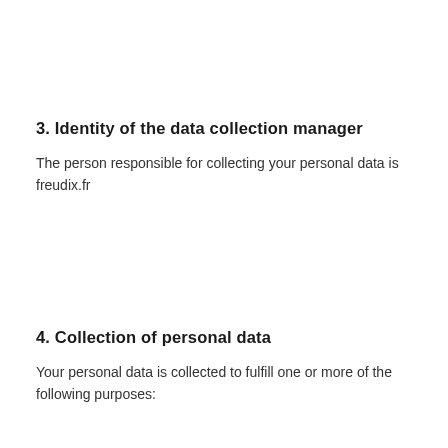3. Identity of the data collection manager
The person responsible for collecting your personal data is freudix.fr
4. Collection of personal data
Your personal data is collected to fulfill one or more of the following purposes: